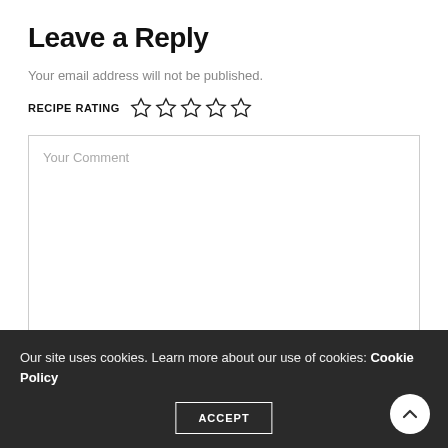Leave a Reply
Your email address will not be published.
RECIPE RATING ☆☆☆☆☆
Your Comment
Our site uses cookies. Learn more about our use of cookies: Cookie Policy
ACCEPT